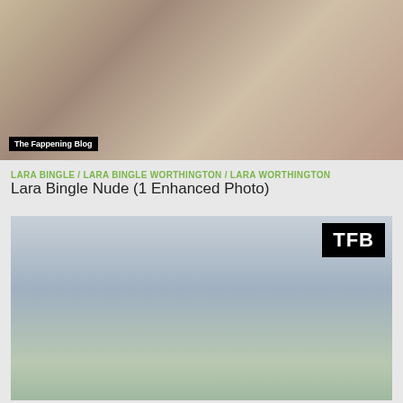[Figure (photo): Paparazzi beach photo with watermark 'The Fappening Blog']
LARA BINGLE / LARA BINGLE WORTHINGTON / LARA WORTHINGTON
Lara Bingle Nude (1 Enhanced Photo)
[Figure (photo): Paparazzi street photo of woman in blue bikini top and cardigan, TFB watermark badge]